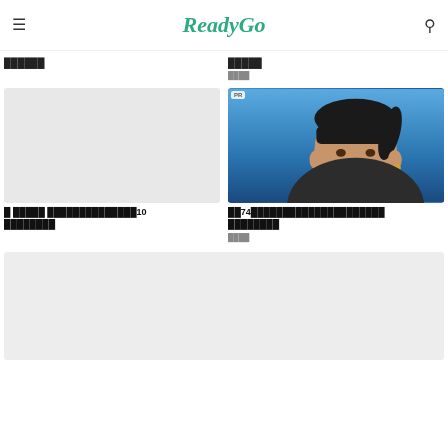ReadyGo
██████
█████
████
[Figure (photo): Gray placeholder thumbnail image]
[Figure (photo): Photo of an overweight Asian woman with black hair and bangs, wearing a dark top, PR badge in corner]
█ █████ ██████████████10 ████████
██74██████████████████ ████████
████
[Figure (photo): Gray placeholder banner image at bottom]